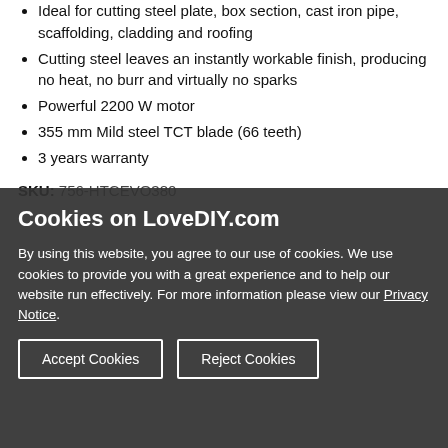Ideal for cutting steel plate, box section, cast iron pipe, scaffolding, cladding and roofing
Cutting steel leaves an instantly workable finish, producing no heat, no burr and virtually no sparks
Powerful 2200 W motor
355 mm Mild steel TCT blade (66 teeth)
3 years warranty
SKU: 756-HTCEVO380
Cookies on LoveDIY.com
By using this website, you agree to our use of cookies. We use cookies to provide you with a great experience and to help our website run effectively. For more information please view our Privacy Notice.
Accept Cookies
Reject Cookies